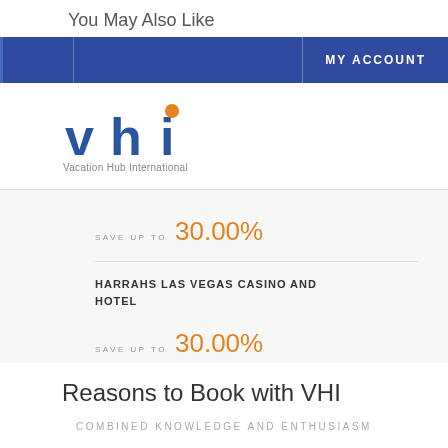You May Also Like
MY ACCOUNT
[Figure (logo): VHI - Vacation Hub International logo. Blue stylized 'vhi' letters with orange dot above the 'i', and 'Vacation Hub International' text below.]
SAVE UP TO 30.00%
HARRAHS LAS VEGAS CASINO AND HOTEL
SAVE UP TO 30.00%
Reasons to Book with VHI
COMBINED KNOWLEDGE AND ENTHUSIASM